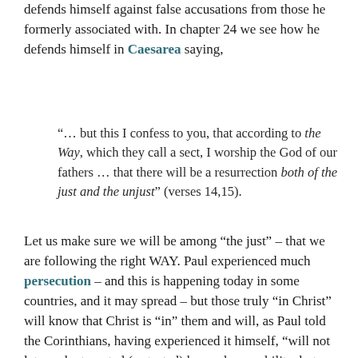defends himself against false accusations from those he formerly associated with. In chapter 24 we see how he defends himself in Caesarea saying,
“… but this I confess to you, that according to the Way, which they call a sect, I worship the God of our fathers … that there will be a resurrection both of the just and the unjust” (verses 14,15).
Let us make sure we will be among “the just” – that we are following the right WAY. Paul experienced much persecution – and this is happening today in some countries, and it may spread – but those truly “in Christ” will know that Christ is “in” them and will, as Paul told the Corinthians, having experienced it himself, “will not let you be tempted (or tested) beyond your ability, but with the temptation he will also provide the way of escape, that you may be able to endure it” (1 Corinthians 10:13).